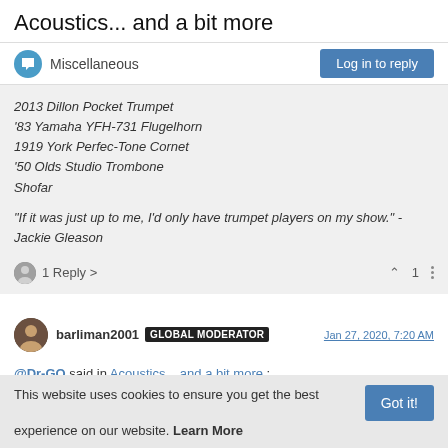Acoustics... and a bit more
Miscellaneous
Log in to reply
2013 Dillon Pocket Trumpet
'83 Yamaha YFH-731 Flugelhorn
1919 York Perfec-Tone Cornet
'50 Olds Studio Trombone
Shofar
"If it was just up to me, I'd only have trumpet players on my show." - Jackie Gleason
1 Reply
1
barliman2001 GLOBAL MODERATOR Jan 27, 2020, 7:20 AM
@Dr-GO said in Acoustics... and a bit more:
This website uses cookies to ensure you get the best experience on our website. Learn More
Got it!